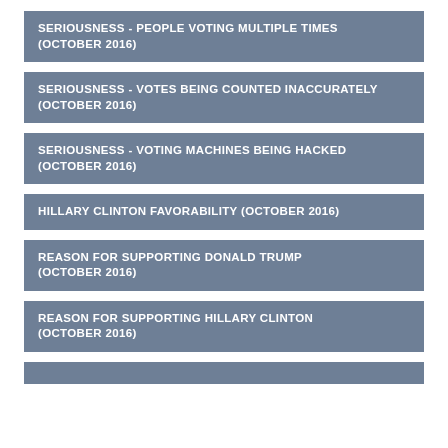SERIOUSNESS - PEOPLE VOTING MULTIPLE TIMES (OCTOBER 2016)
SERIOUSNESS - VOTES BEING COUNTED INACCURATELY (OCTOBER 2016)
SERIOUSNESS - VOTING MACHINES BEING HACKED (OCTOBER 2016)
HILLARY CLINTON FAVORABILITY (OCTOBER 2016)
REASON FOR SUPPORTING DONALD TRUMP (OCTOBER 2016)
REASON FOR SUPPORTING HILLARY CLINTON (OCTOBER 2016)